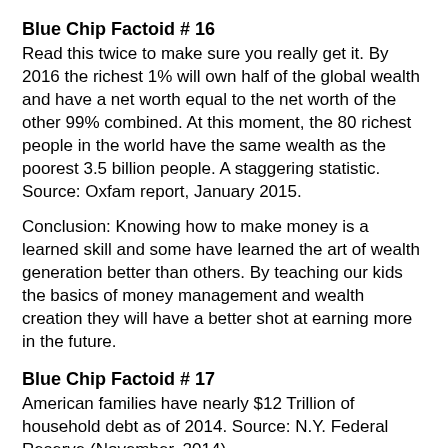Blue Chip Factoid # 16
Read this twice to make sure you really get it. By 2016 the richest 1% will own half of the global wealth and have a net worth equal to the net worth of the other 99% combined. At this moment, the 80 richest people in the world have the same wealth as the poorest 3.5 billion people. A staggering statistic. Source: Oxfam report, January 2015.
Conclusion: Knowing how to make money is a learned skill and some have learned the art of wealth generation better than others. By teaching our kids the basics of money management and wealth creation they will have a better shot at earning more in the future.
Blue Chip Factoid # 17
American families have nearly $12 Trillion of household debt as of 2014. Source: N.Y. Federal Reserve (November, 2014).
Conclusion: “All things in moderation.” Having some debt is fine if you can afford to service it and still grow the family’s